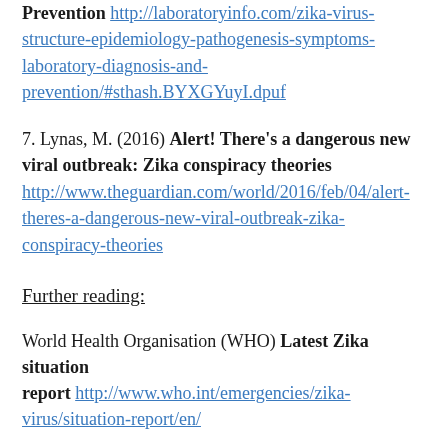Prevention http://laboratoryinfo.com/zika-virus-structure-epidemiology-pathogenesis-symptoms-laboratory-diagnosis-and-prevention/#sthash.BYXGYuyI.dpuf
7. Lynas, M. (2016) Alert! There's a dangerous new viral outbreak: Zika conspiracy theories http://www.theguardian.com/world/2016/feb/04/alert-theres-a-dangerous-new-viral-outbreak-zika-conspiracy-theories
Further reading:
World Health Organisation (WHO) Latest Zika situation report http://www.who.int/emergencies/zika-virus/situation-report/en/